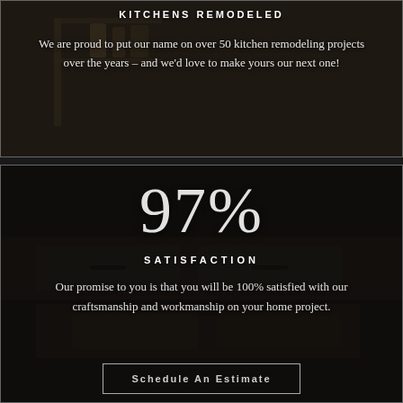KITCHENS REMODELED
We are proud to put our name on over 50 kitchen remodeling projects over the years – and we'd love to make yours our next one!
97%
SATISFACTION
Our promise to you is that you will be 100% satisfied with our craftsmanship and workmanship on your home project.
Schedule An Estimate